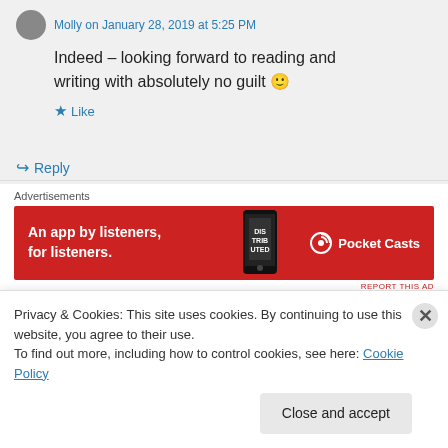Indeed – looking forward to reading and writing with absolutely no guilt 🙂
★ Like
↪ Reply
Advertisements
[Figure (advertisement): Pocket Casts ad banner: red background with phone graphic, text 'An app by listeners, for listeners.' and Pocket Casts logo on right]
REPORT THIS AD
Privacy & Cookies: This site uses cookies. By continuing to use this website, you agree to their use.
To find out more, including how to control cookies, see here: Cookie Policy
Close and accept